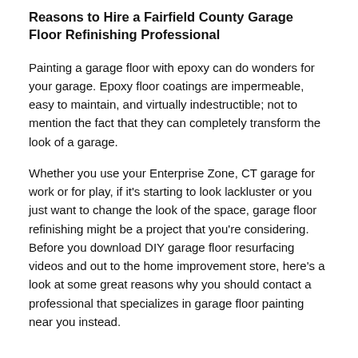Reasons to Hire a Fairfield County Garage Floor Refinishing Professional
Painting a garage floor with epoxy can do wonders for your garage. Epoxy floor coatings are impermeable, easy to maintain, and virtually indestructible; not to mention the fact that they can completely transform the look of a garage.
Whether you use your Enterprise Zone, CT garage for work or for play, if it's starting to look lackluster or you just want to change the look of the space, garage floor refinishing might be a project that you're considering. Before you download DIY garage floor resurfacing videos and out to the home improvement store, here's a look at some great reasons why you should contact a professional that specializes in garage floor painting near you instead.